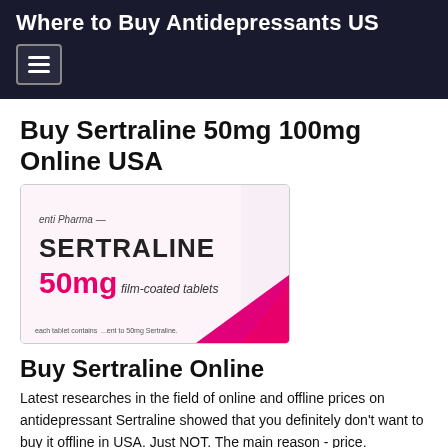Where to Buy Antidepressants US
Buy Sertraline 50mg 100mg Online USA
[Figure (photo): Photo of a Sertraline 50mg film-coated tablets box by enti Pharma, showing pink branding with magenta diagonal corner.]
Buy Sertraline Online
Latest researches in the field of online and offline prices on antidepressant Sertraline showed that you definitely don't want to buy it offline in USA. Just NOT. The main reason - price.